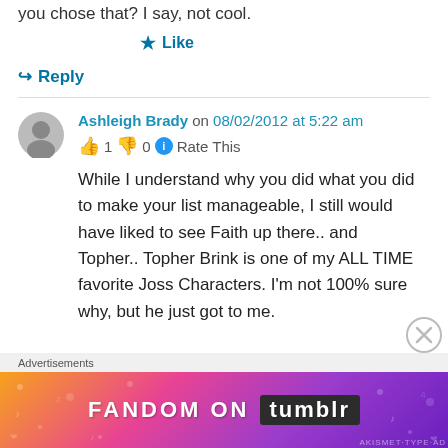you chose that? I say, not cool.
★ Like
↪ Reply
Ashleigh Brady on 08/02/2012 at 5:22 am
👍 1 👎 0 ℹ Rate This
While I understand why you did what you did to make your list manageable, I still would have liked to see Faith up there.. and Topher.. Topher Brink is one of my ALL TIME favorite Joss Characters. I'm not 100% sure why, but he just got to me.
Advertisements
[Figure (illustration): Fandom on Tumblr advertisement banner with colorful gradient background (orange, pink, purple)]